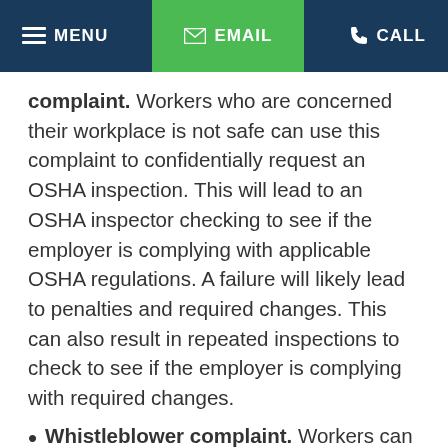MENU  EMAIL  CALL
complaint. Workers who are concerned their workplace is not safe can use this complaint to confidentially request an OSHA inspection. This will lead to an OSHA inspector checking to see if the employer is complying with applicable OSHA regulations. A failure will likely lead to penalties and required changes. This can also result in repeated inspections to check to see if the employer is complying with required changes.
Whistleblower complaint. Workers can also file a complaint for retaliation. This can include retaliation for